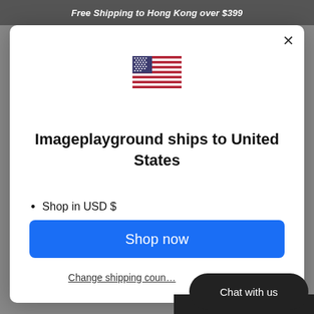Free Shipping to Hong Kong over $399
Imageplayground ships to United States
Shop in USD $
Get shipping options for United States
Shop now
Change shipping coun…
Chat with us
Earn Rewards